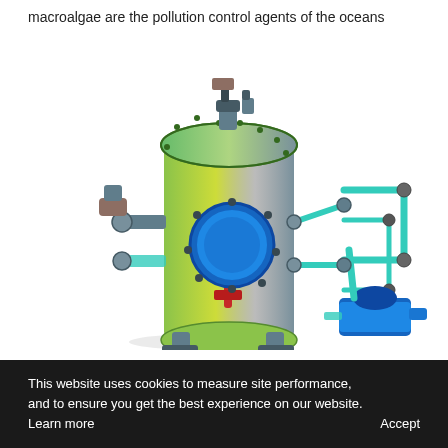macroalgae are the pollution control agents of the oceans
[Figure (engineering-diagram): 3D CAD rendering of an industrial filtration or pressure vessel system. A large vertical cylindrical green tank with flanged lid and multiple pipe connections, a large circular side port/flange, and an attached piping network with valves, fittings, and a blue electric motor/pump unit on the right side.]
This website uses cookies to measure site performance, and to ensure you get the best experience on our website. Learn more    Accept